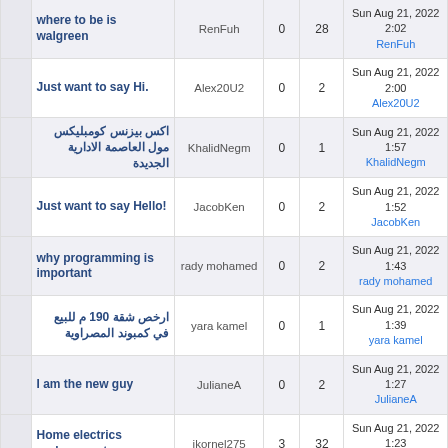|  | Topic | Author | Replies | Views | Last post |
| --- | --- | --- | --- | --- | --- |
|  | where to be is walgreen | RenFuh | 0 | 28 | Sun Aug 21, 2022 2:02
RenFuh |
|  | Just want to say Hi. | Alex20U2 | 0 | 2 | Sun Aug 21, 2022 2:00
Alex20U2 |
|  | اکس بیزنس کومبلیکس مول العاصمة الادارية الجديدة | KhalidNegm | 0 | 1 | Sun Aug 21, 2022 1:57
KhalidNegm |
|  | Just want to say Hello! | JacobKen | 0 | 2 | Sun Aug 21, 2022 1:52
JacobKen |
|  | why programming is important | rady mohamed | 0 | 2 | Sun Aug 21, 2022 1:43
rady mohamed |
|  | ارخص شقة 190 م للبيع في كمبوند المصراوية | yara kamel | 0 | 1 | Sun Aug 21, 2022 1:39
yara kamel |
|  | I am the new guy | JulianeA | 0 | 2 | Sun Aug 21, 2022 1:27
JulianeA |
|  | Home electrics replacement | ikornel275 | 3 | 32 | Sun Aug 21, 2022 1:23
Monko |
|  | Реальные девочки для секса | cpok | 3 | 171 | Sun Aug 21, 2022 1:21
jcw |
|  | TV-WrestleMania-38-Live-... | bukacuda2022 | 9 | 835 | Sun Aug 21, 2022 1:20 |